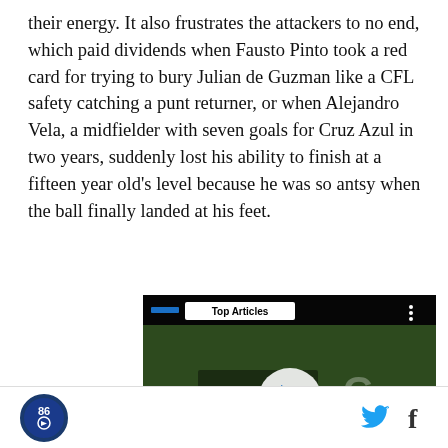their energy. It also frustrates the attackers to no end, which paid dividends when Fausto Pinto took a red card for trying to bury Julian de Guzman like a CFL safety catching a punt returner, or when Alejandro Vela, a midfielder with seven goals for Cruz Azul in two years, suddenly lost his ability to finish at a fifteen year old's level because he was so antsy when the ball finally landed at his feet.
[Figure (screenshot): Embedded video player showing a soccer/football match. Top bar reads 'Top Articles'. Center has a white play button circle with blue triangle. Bottom controls show play, mute icons on the left and a blue arrow button on the right.]
Logo icon with '86' and social icons for Twitter and Facebook